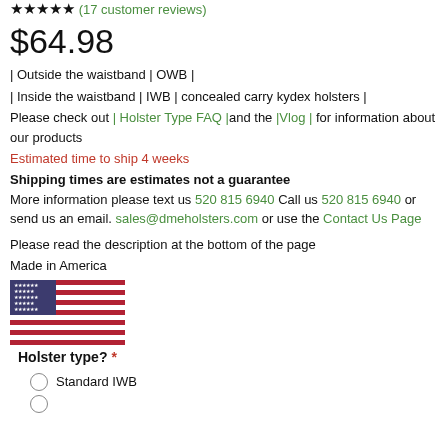★★★★★ (17 customer reviews)
$64.98
| Outside the waistband | OWB |
| Inside the waistband | IWB | concealed carry kydex holsters |
Please check out | Holster Type FAQ | and the | Vlog | for information about our products
Estimated time to ship 4 weeks
Shipping times are estimates not a guarantee
More information please text us 520 815 6940 Call us 520 815 6940 or send us an email. sales@dmeholsters.com or use the Contact Us Page
Please read the description at the bottom of the page
Made in America
[Figure (illustration): American flag image]
Holster type? *
Standard IWB
(partially visible radio option)